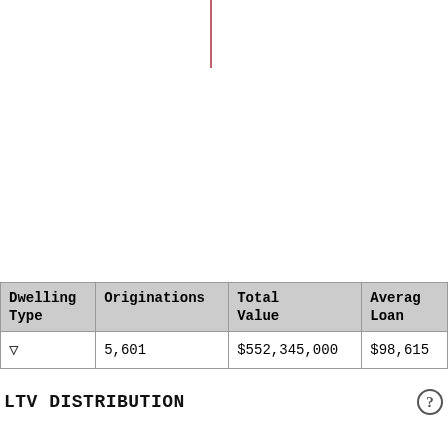| Dwelling Type | Originations | Total Value | Average Loan |
| --- | --- | --- | --- |
| ▽ | 5,601 | $552,345,000 | $98,615 |
LTV DISTRIBUTION